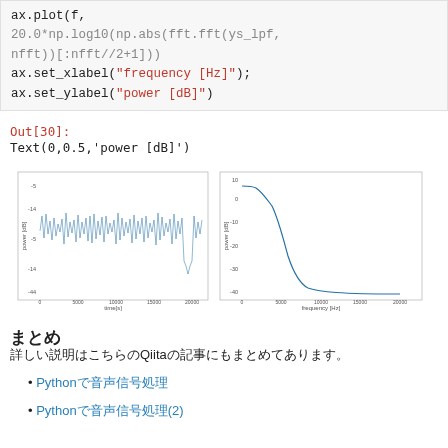ax.plot(f, 20.0*np.log10(np.abs(fft.fft(ys_lpf, nfft))[:nfft//2+1]))
ax.set_xlabel("frequency [Hz]");
ax.set_ylabel("power [dB]")
Out[30]:
Text(0,0.5,'power [dB]')
[Figure (continuous-plot): Two side-by-side matplotlib plots. Left: time-domain signal plot with noisy waveform (power [dB] vs time[s]), x-axis 0 to 20000, y-axis roughly -40 to -5. Right: frequency-domain plot (power [dB] vs frequency [Hz]), showing a low-pass filter response curve that drops off steeply, x-axis 0 to 20000.]
まとめ
詳しい説明はこちらのQiitaの記事にもまとめてあります。
Pythonで音声信号処理
Pythonで音声信号処理(2)